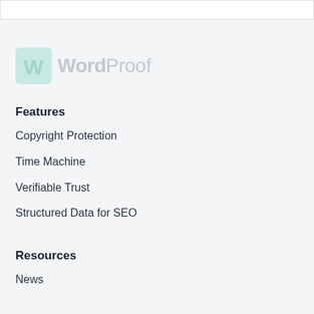[Figure (logo): WordProof logo with teal W icon and gray WordProof text]
Features
Copyright Protection
Time Machine
Verifiable Trust
Structured Data for SEO
Resources
News